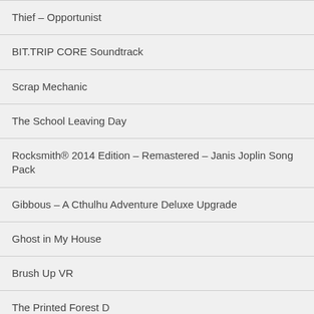Thief – Opportunist
BIT.TRIP CORE Soundtrack
Scrap Mechanic
The School Leaving Day
Rocksmith® 2014 Edition – Remastered – Janis Joplin Song Pack
Gibbous – A Cthulhu Adventure Deluxe Upgrade
Ghost in My House
Brush Up VR
The Printed Forest D…